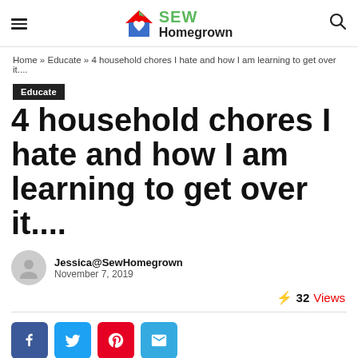SEW Homegrown
Home » Educate » 4 household chores I hate and how I am learning to get over it....
Educate
4 household chores I hate and how I am learning to get over it....
Jessica@SewHomegrown
November 7, 2019
32 Views
Social share buttons: Facebook, Twitter, Pinterest, Email